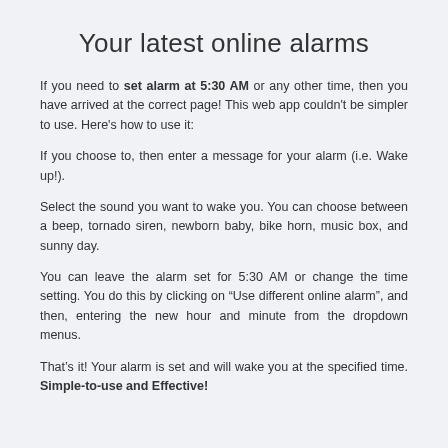Your latest online alarms
If you need to set alarm at 5:30 AM or any other time, then you have arrived at the correct page! This web app couldn't be simpler to use. Here's how to use it:
If you choose to, then enter a message for your alarm (i.e. Wake up!).
Select the sound you want to wake you. You can choose between a beep, tornado siren, newborn baby, bike horn, music box, and sunny day.
You can leave the alarm set for 5:30 AM or change the time setting. You do this by clicking on “Use different online alarm”, and then, entering the new hour and minute from the dropdown menus.
That’s it! Your alarm is set and will wake you at the specified time. Simple-to-use and Effective!